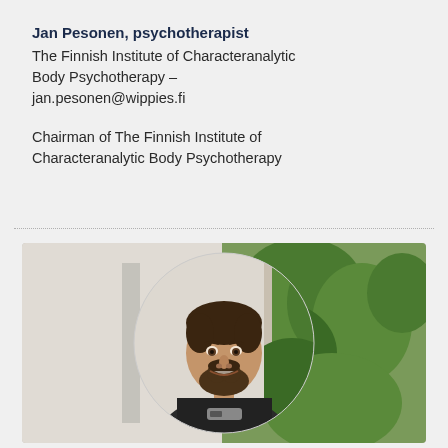Jan Pesonen, psychotherapist
The Finnish Institute of Characteranalytic Body Psychotherapy – jan.pesonen@wippies.fi
Chairman of The Finnish Institute of Characteranalytic Body Psychotherapy
[Figure (photo): Portrait photo of Jan Pesonen, a man with dark hair and beard, smiling, shown in a circular crop against an outdoor background with green foliage]